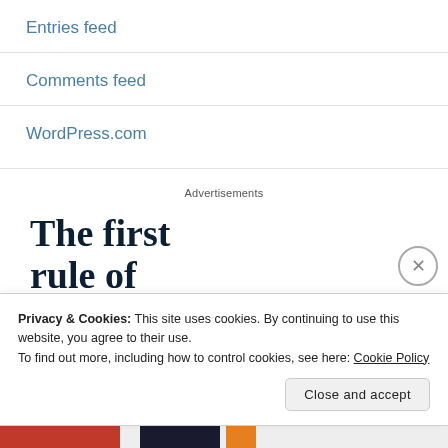Entries feed
Comments feed
WordPress.com
Advertisements
[Figure (infographic): Advertisement with bold serif text: 'The first rule of Startup School?']
Privacy & Cookies: This site uses cookies. By continuing to use this website, you agree to their use.
To find out more, including how to control cookies, see here: Cookie Policy
Close and accept